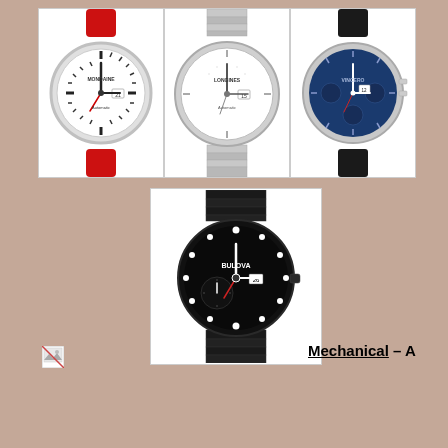[Figure (photo): Three watches in a row: left - watch with red leather strap and white dial; center - watch with silver metal bracelet and white dial; right - watch with black leather strap and blue chronograph dial]
[Figure (photo): Single black watch with diamond markers, black dial, and black metal bracelet - Bulova brand]
[Figure (photo): Small broken image icon placeholder]
Mechanical – A